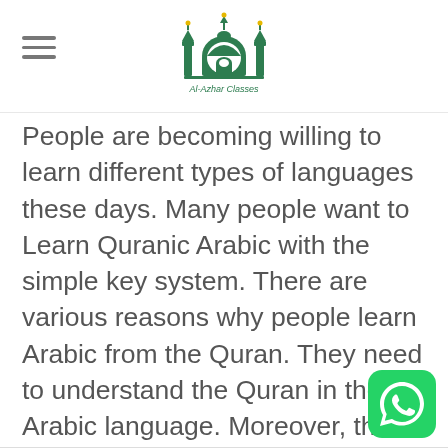[Figure (logo): Al-Azhar Classes logo with mosque/dome icon in green and gold, text 'Al-Azhar Classes' in green and yellow]
People are becoming willing to learn different types of languages these days. Many people want to Learn Quranic Arabic with the simple key system. There are various reasons why people learn Arabic from the Quran. They need to understand the Quran in the Arabic language. Moreover, the Quran Arabic English is also suitable for all age group [...]
CONTINUE READING →